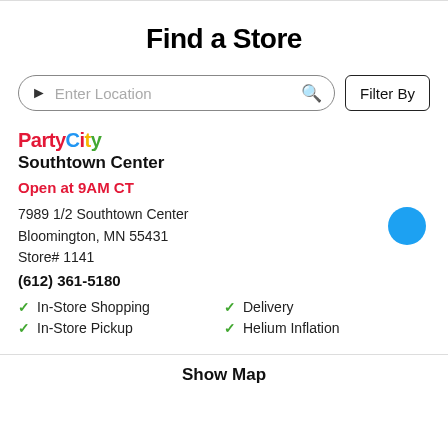Find a Store
Enter Location | Filter By
PartyCity
Southtown Center
Open at 9AM CT
7989 1/2 Southtown Center
Bloomington, MN 55431
Store# 1141
(612) 361-5180
In-Store Shopping
In-Store Pickup
Delivery
Helium Inflation
Show Map